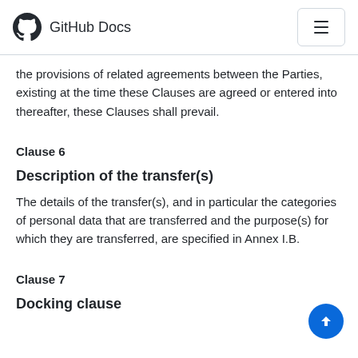GitHub Docs
the provisions of related agreements between the Parties, existing at the time these Clauses are agreed or entered into thereafter, these Clauses shall prevail.
Clause 6
Description of the transfer(s)
The details of the transfer(s), and in particular the categories of personal data that are transferred and the purpose(s) for which they are transferred, are specified in Annex I.B.
Clause 7
Docking clause